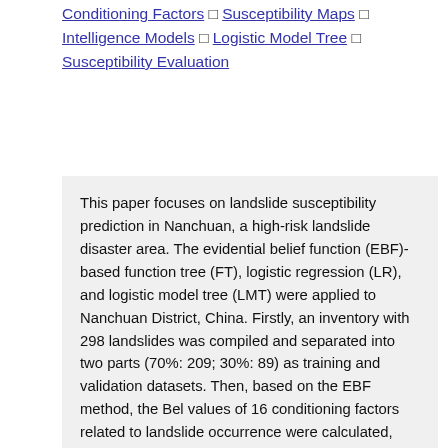Conditioning Factors □ Susceptibility Maps □ Intelligence Models □ Logistic Model Tree □ Susceptibility Evaluation
This paper focuses on landslide susceptibility prediction in Nanchuan, a high-risk landslide disaster area. The evidential belief function (EBF)-based function tree (FT), logistic regression (LR), and logistic model tree (LMT) were applied to Nanchuan District, China. Firstly, an inventory with 298 landslides was compiled and separated into two parts (70%: 209; 30%: 89) as training and validation datasets. Then, based on the EBF method, the Bel values of 16 conditioning factors related to landslide occurrence were calculated, and these Bel values were used as input data for building other models. The receiver operating characteristic (ROC) curve and the values of the area under the ROC curve (AUC) were used to evaluate and compare the prediction ability of the four models. All the models achieved good results and performed well. In particular, the LMT model had the best performance (0.847 and 0.765, obtained from the training and validation datasets, respectively). This paper also demonstrates the superiority of integration and optimization of models in landslide